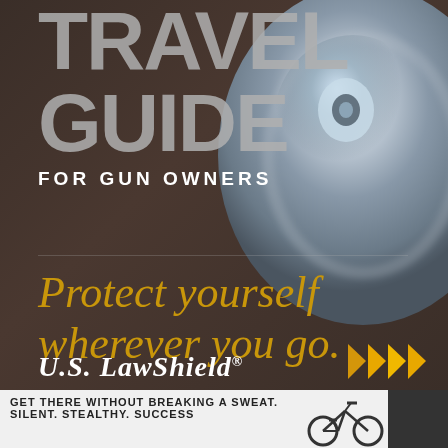[Figure (illustration): Cover page of Travel Guide for Gun Owners by U.S. LawShield. Dark brown background with a large silver spinning orb/wheel in the top-right area. Title text 'TRAVEL GUIDE' in large grey letters, subtitle 'FOR GUN OWNERS' in white. Tagline 'Protect yourself wherever you go.' in gold italic text. U.S. LawShield logo in white at bottom left. Gold arrow chevrons at bottom right.]
TRAVEL GUIDE FOR GUN OWNERS
Protect yourself wherever you go.
U.S. LawShield®
GET THERE WITHOUT BREAKING A SWEAT. SILENT. STEALTHY. SUCCESS